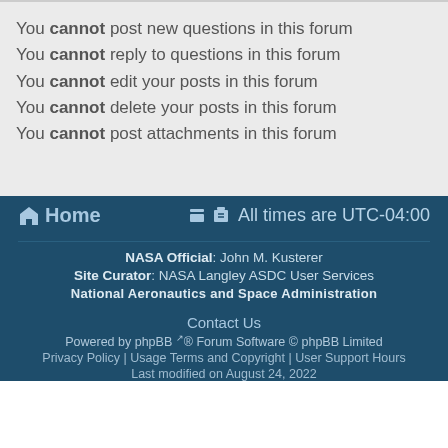You cannot post new questions in this forum
You cannot reply to questions in this forum
You cannot edit your posts in this forum
You cannot delete your posts in this forum
You cannot post attachments in this forum
Home | All times are UTC-04:00
NASA Official: John M. Kusterer
Site Curator: NASA Langley ASDC User Services
National Aeronautics and Space Administration
Contact Us
Powered by phpBB® Forum Software © phpBB Limited
Privacy Policy | Usage Terms and Copyright | User Support Hours
Last modified on August 24, 2022